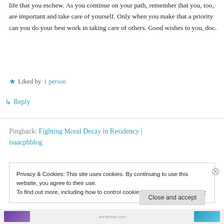life that you eschew. As you continue on your path, remember that you, too, are important and take care of yourself. Only when you make that a priority can you do your best work in taking care of others. Good wishes to you, doc.
★ Liked by 1 person
↳ Reply
Pingback: Fighting Moral Decay in Residency | isaacphblog
Privacy & Cookies: This site uses cookies. By continuing to use this website, you agree to their use.
To find out more, including how to control cookies, see here: Cookie Policy
Close and accept